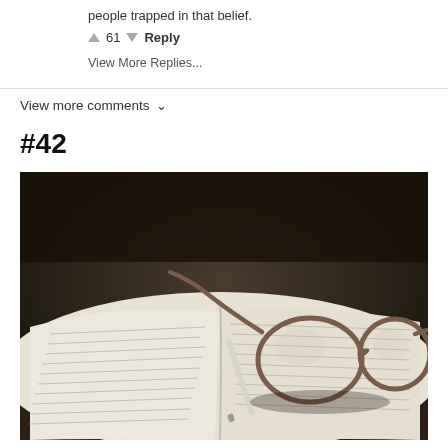people trapped in that belief.
▲ 61 ▼ Reply
View More Replies...
View more comments ∨
#42
[Figure (photo): A photograph of an open notebook with handwritten notes, a pen, and a pair of round eyeglasses resting on top, shot in sepia/muted tones on a wooden surface.]